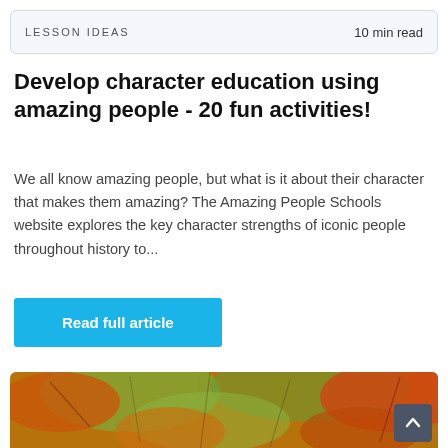LESSON IDEAS   10 min read
Develop character education using amazing people - 20 fun activities!
We all know amazing people, but what is it about their character that makes them amazing? The Amazing People Schools website explores the key character strengths of iconic people throughout history to...
Read full article
[Figure (photo): Autumn leaves in warm orange, red, and green tones photographed close up]